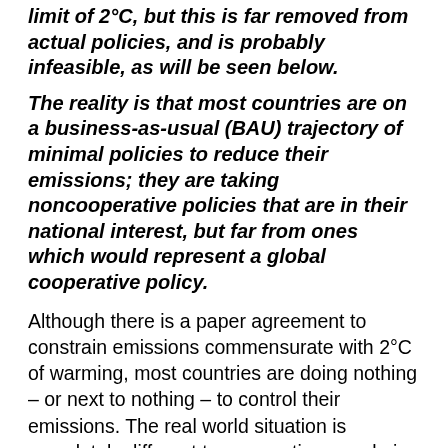limit of 2°C, but this is far removed from actual policies, and is probably infeasible, as will be seen below.
The reality is that most countries are on a business-as-usual (BAU) trajectory of minimal policies to reduce their emissions; they are taking noncooperative policies that are in their national interest, but far from ones which would represent a global cooperative policy.
Although there is a paper agreement to constrain emissions commensurate with 2°C of warming, most countries are doing nothing – or next to nothing – to control their emissions. The real world situation is completely different to assumptions made in the model. The implications of this are skirted over by Nordhaus, but